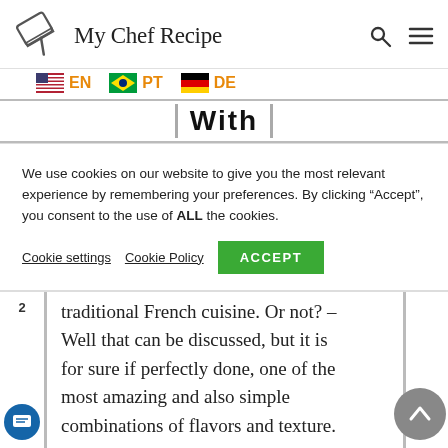My Chef Recipe
EN  PT  DE
With
We use cookies on our website to give you the most relevant experience by remembering your preferences. By clicking “Accept”, you consent to the use of ALL the cookies.
Cookie settings   Cookie Policy   ACCEPT
traditional French cuisine. Or not? – Well that can be discussed, but it is for sure if perfectly done, one of the most amazing and also simple combinations of flavors and texture.